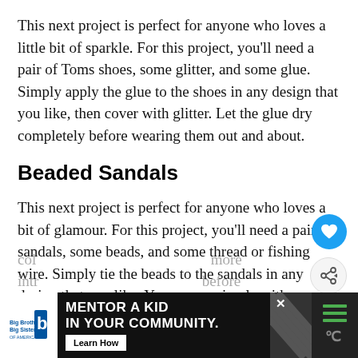This next project is perfect for anyone who loves a little bit of sparkle. For this project, you'll need a pair of Toms shoes, some glitter, and some glue. Simply apply the glue to the shoes in any design that you like, then cover with glitter. Let the glue dry completely before wearing them out and about.
Beaded Sandals
This next project is perfect for anyone who loves a bit of glamour. For this project, you'll need a pair of sandals, some beads, and some thread or fishing wire. Simply tie the beads to the sandals in any design that you like. You can go simple with one col... more intr... before
[Figure (other): Advertisement banner: Big Brothers Big Sisters logo on white background, text 'MENTOR A KID IN YOUR COMMUNITY.' with 'Learn How' button, diagonal stripe pattern, close X button, and menu/weather icons on right side.]